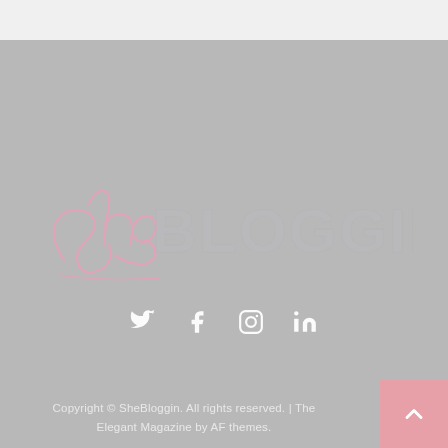[Figure (logo): SheBloggin logo with cursive script 'She' in pink and bold outlined letters 'BLOGGIN' in light gray/white, overlaid on a gray background]
[Figure (infographic): Social media icons row: Twitter bird, Facebook f, Instagram camera, LinkedIn in — all in white on gray background]
Copyright © SheBloggin. All rights reserved. | The Elegant Magazine by AF themes.